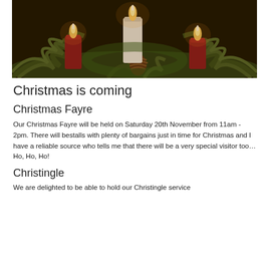[Figure (photo): Christmas advent wreath with three lit candles (two red, one white/cream) surrounded by green pine branches and a pine cone, dark background]
Christmas is coming
Christmas Fayre
Our Christmas Fayre will be held on Saturday 20th November from 11am - 2pm. There will bestalls with plenty of bargains just in time for Christmas and I have a reliable source who tells me that there will be a very special visitor too… Ho, Ho, Ho!
Christingle
We are delighted to be able to hold our Christingle service